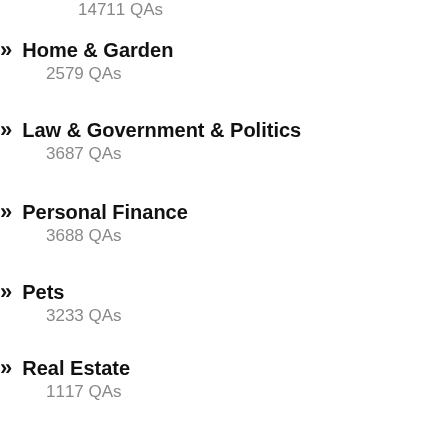14711 QAs
Home & Garden
2579 QAs
Law & Government & Politics
3687 QAs
Personal Finance
3688 QAs
Pets
3233 QAs
Real Estate
1117 QAs
Science
4194 QAs
Shopping
557 QAs